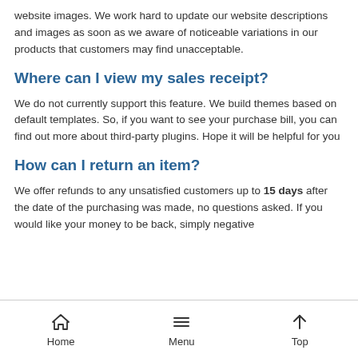website images. We work hard to update our website descriptions and images as soon as we aware of noticeable variations in our products that customers may find unacceptable.
Where can I view my sales receipt?
We do not currently support this feature. We build themes based on default templates. So, if you want to see your purchase bill, you can find out more about third-party plugins. Hope it will be helpful for you
How can I return an item?
We offer refunds to any unsatisfied customers up to 15 days after the date of the purchasing was made, no questions asked. If you would like your money to be back, simply negative
Home  Menu  Top